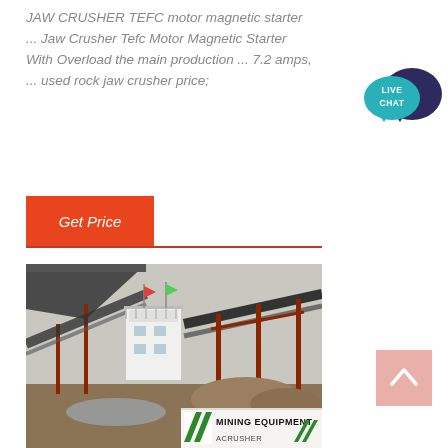JAW CRUSHER TEFC motor magnetic starter ... Jaw Crusher Tefc Motor Magnetic Starter With Overload the main production ... 7.2 amps, ... used rock jaw crusher price;
Get Price
[Figure (photo): Industrial mining equipment facility with conveyor belts, a control tower/building, and red steel frame structures. A banner at the bottom reads 'MINING EQUIPMENT ACRUSHER' with green diagonal stripe logos.]